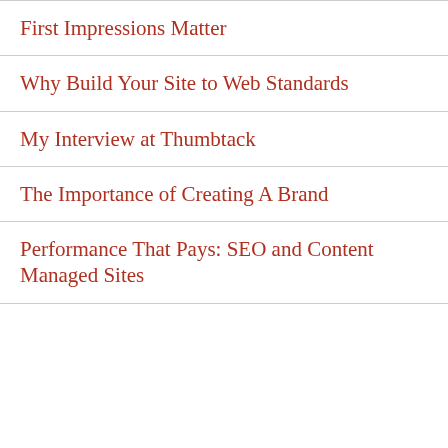First Impressions Matter
Why Build Your Site to Web Standards
My Interview at Thumbtack
The Importance of Creating A Brand
Performance That Pays: SEO and Content Managed Sites